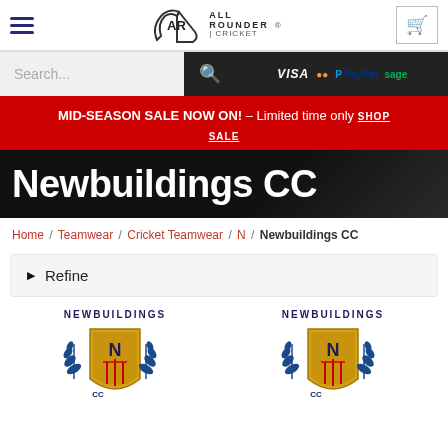[Figure (logo): All Rounder Cricket logo with AR monogram and navigation hamburger menu and cart icon]
[Figure (screenshot): Search bar with payment icons: VISA, MasterCard, PayPal, Sage]
MID-SEASON SALE NOW ON! – Limited time only SHOP SALE
Newbuildings CC
Home / Teamwear / Cricket Teamwear / N / Newbuildings CC
▶ Refine
[Figure (logo): Newbuildings CC club crest/badge with NEWBUILDINGS text, two logos shown side by side]